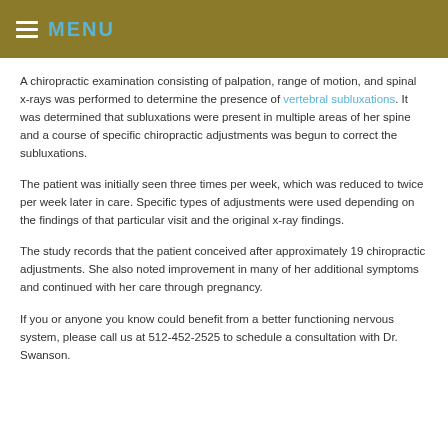MENU
A chiropractic examination consisting of palpation, range of motion, and spinal x-rays was performed to determine the presence of vertebral subluxations. It was determined that subluxations were present in multiple areas of her spine and a course of specific chiropractic adjustments was begun to correct the subluxations.
The patient was initially seen three times per week, which was reduced to twice per week later in care. Specific types of adjustments were used depending on the findings of that particular visit and the original x-ray findings.
The study records that the patient conceived after approximately 19 chiropractic adjustments. She also noted improvement in many of her additional symptoms and continued with her care through pregnancy.
If you or anyone you know could benefit from a better functioning nervous system, please call us at 512-452-2525 to schedule a consultation with Dr. Swanson.